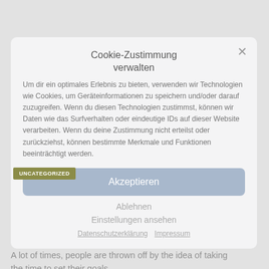Cookie-Zustimmung verwalten
Um dir ein optimales Erlebnis zu bieten, verwenden wir Technologien wie Cookies, um Geräteinformationen zu speichern und/oder darauf zuzugreifen. Wenn du diesen Technologien zustimmst, können wir Daten wie das Surfverhalten oder eindeutige IDs auf dieser Website verarbeiten. Wenn du deine Zustimmung nicht erteilst oder zurückziehst, können bestimmte Merkmale und Funktionen beeinträchtigt werden.
Akzeptieren
UNCATEGORIZED
Ablehnen
Einstellungen ansehen
Datenschutzerklärung   Impressum
The first thing you need to do is sit down and set your goals.
Diana Scharf Hunt said "Goals are dreams with deadlines."
A lot of times, people are thrown off by the idea of taking the time to set their goals.